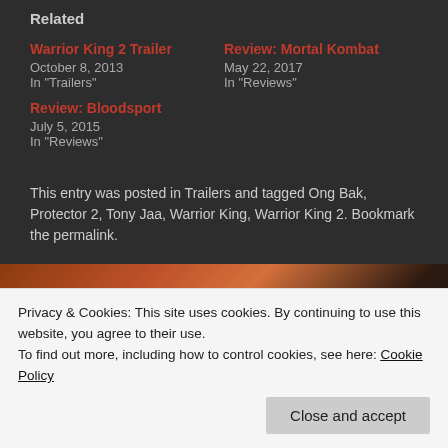Related
Warrior King 2 Trailer
October 8, 2013
In "Trailers"
Review: Mortal Kombat
May 22, 2017
In "Reviews"
Review: Bloodsport
July 5, 2015
In "Reviews"
This entry was posted in Trailers and tagged Ong Bak, Protector 2, Tony Jaa, Warrior King, Warrior King 2. Bookmark the permalink.
[Figure (photo): Film still/promotional image showing a close-up of a person's face and upper body with warm orange-red tones, used as navigation banner between posts]
Teenage Mutant Ninja Turtles (Two Reboots)...
Review: Captain America – The Winter Soldie...
Privacy & Cookies: This site uses cookies. By continuing to use this website, you agree to their use.
To find out more, including how to control cookies, see here: Cookie Policy
Close and accept